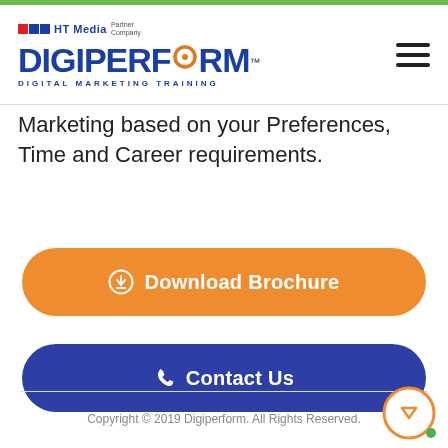[Figure (logo): DigiPerform logo with HT Media Partner Company branding and Digital Marketing Training tagline]
Marketing based on your Preferences, Time and Career requirements.
[Figure (other): Download Brochure orange pill button with download icon]
[Figure (other): Contact Us dark blue pill button with phone icon]
Copyright © 2019 Digiperform. All Rights Reserved.